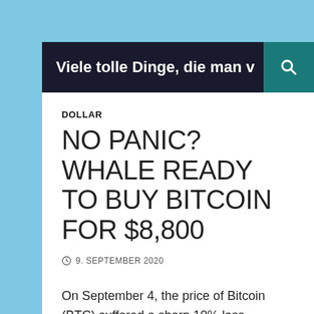Viele tolle Dinge, die man v
DOLLAR
NO PANIC? WHALE READY TO BUY BITCOIN FOR $8,800
9. SEPTEMBER 2020
On September 4, the price of Bitcoin (BTC) suffered a sharp 10% loss. Following the contraction, the crypto market climate became visibly cautious, while the